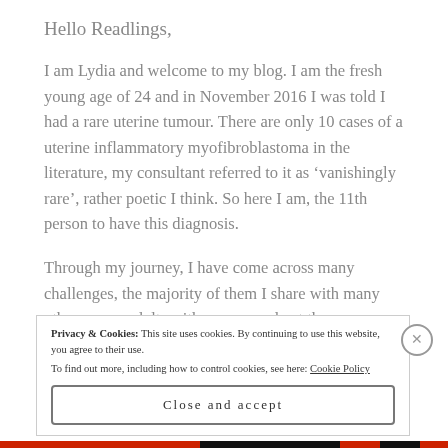Hello Readlings,
I am Lydia and welcome to my blog. I am the fresh young age of 24 and in November 2016 I was told I had a rare uterine tumour. There are only 10 cases of a uterine inflammatory myofibroblastoma in the literature, my consultant referred to it as ‘vanishingly rare’, rather poetic I think. So here I am, the 11th person to have this diagnosis.
Through my journey, I have come across many challenges, the majority of them I share with many other young adults with cancer, and yet they are nearly all under discussed.
Privacy & Cookies: This site uses cookies. By continuing to use this website, you agree to their use.
To find out more, including how to control cookies, see here: Cookie Policy
Close and accept